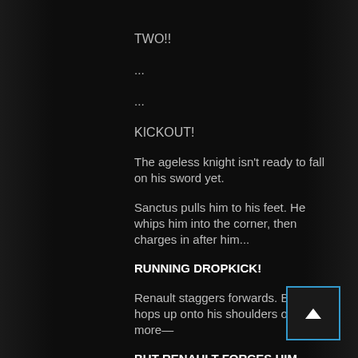TWO!!
...
...
KICKOUT!
The ageless knight isn't ready to fall on his sword yet.
Sanctus pulls him to his feet. He whips him into the corner, then charges in after him...
RUNNING DROPKICK!
Renault staggers forwards. Bellator hops up onto his shoulders once more—
BUT RENAULT FORCES HIM DOWN INTO A SINGLE-LEG CRAB!